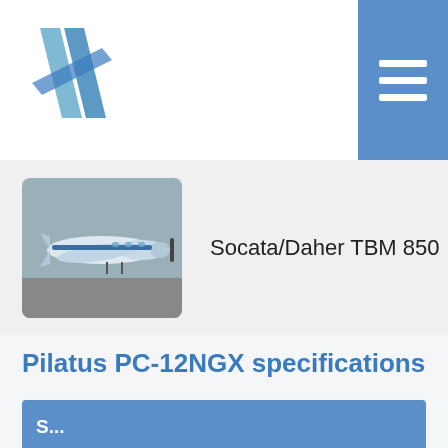[Figure (logo): Blue angular H/slash logo for aviation website header]
[Figure (other): Hamburger menu icon (three white horizontal lines on blue background)]
[Figure (photo): Thumbnail photo of a Socata/Daher TBM 850 turboprop aircraft on tarmac]
Socata/Daher TBM 850
Pilatus PC-12NGX specifications
S...